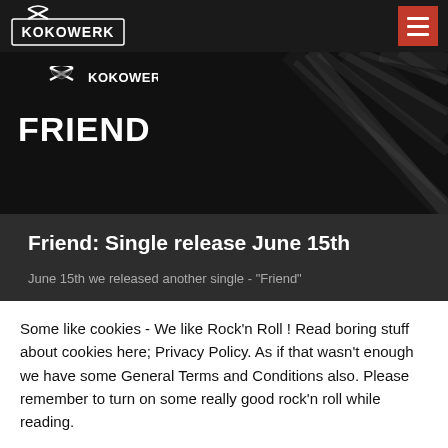KOKOWERK
[Figure (screenshot): Kokowerk Friend single release banner with logo and abstract dark background with light streaks]
Friend: Single release June 15th
June 15th we released another single - "Friend"
Some like cookies - We like Rock'n Roll ! Read boring stuff about cookies here; Privacy Policy. As if that wasn't enough we have some General Terms and Conditions also. Please remember to turn on some really good rock'n roll while reading.
Cookie Settings | Accept All